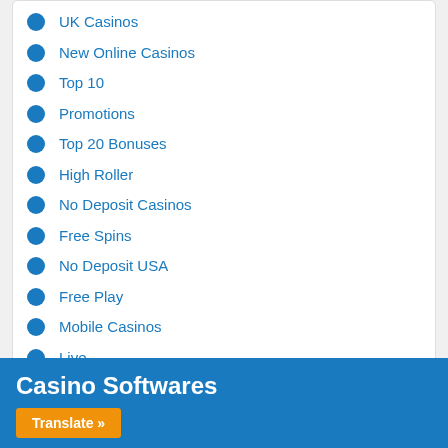UK Casinos
New Online Casinos
Top 10
Promotions
Top 20 Bonuses
High Roller
No Deposit Casinos
Free Spins
No Deposit USA
Free Play
Mobile Casinos
Live
Casino Softwares
Translate »